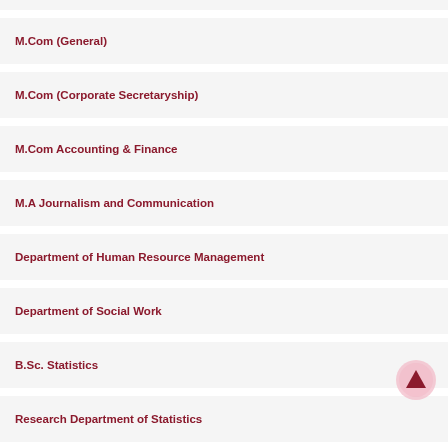M.Com (General)
M.Com (Corporate Secretaryship)
M.Com Accounting & Finance
M.A Journalism and Communication
Department of Human Resource Management
Department of Social Work
B.Sc. Statistics
Research Department of Statistics
Home Science Food Science, Nutrition & Dietetics
M.Sc Plant Biology & Plant Biotechnology
M.A Tamil
M.A Economics
M.Sc Counselling Psychology